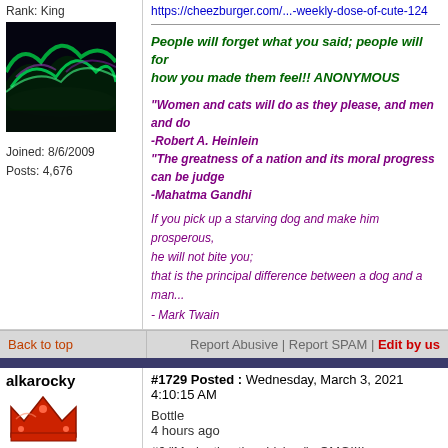Rank: King
[Figure (photo): Aurora borealis / northern lights photo showing green and purple lights over a dark landscape]
https://cheezburger.com/...-weekly-dose-of-cute-124
People will forget what you said; people will for how you made them feel!! ANONYMOUS
"Women and cats will do as they please, and men and do -Robert A. Heinlein "The greatness of a nation and its moral progress can be judge -Mahatma Gandhi
If you pick up a starving dog and make him prosperous, he will not bite you; that is the principal difference between a dog and a man... - Mark Twain
Joined: 8/6/2009
Posts: 4,676
Back to top
Report Abusive | Report SPAM | Edit by us
alkarocky
#1729 Posted : Wednesday, March 3, 2021 4:10:15 AM
[Figure (illustration): Red/brown crown icon representing King rank]
Rank: King
Joined: 7/1/2008
Posts: 63,048
Bottle
4 hours ago
#6 "Marinating the chicken"...OMG!!!!
😁👍😊👍👍😊👍👍😊👍👍😊👍👍😊👍
Back to top